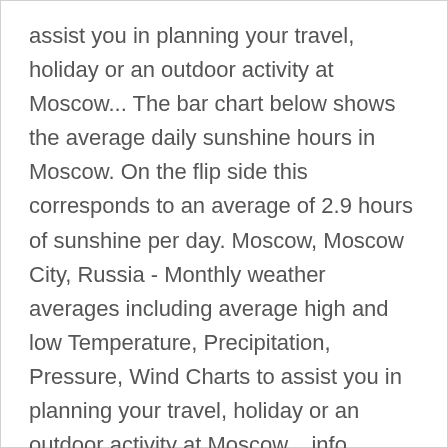assist you in planning your travel, holiday or an outdoor activity at Moscow... The bar chart below shows the average daily sunshine hours in Moscow. On the flip side this corresponds to an average of 2.9 hours of sunshine per day. Moscow, Moscow City, Russia - Monthly weather averages including average high and low Temperature, Precipitation, Pressure, Wind Charts to assist you in planning your travel, holiday or an outdoor activity at Moscow... info. Snowcaps, bees in summer, flower meadows, melting glaciers, traditional mountain regions, national and regional nature parks with marmots, exciting cols, baroque churches and ski stations. The weather today in Moscow: Please note: these are the average peak daytime temperatures (usually around mid-afternoon) so do not show daytime / night highs and lows. Humidity indicates the likelihood for